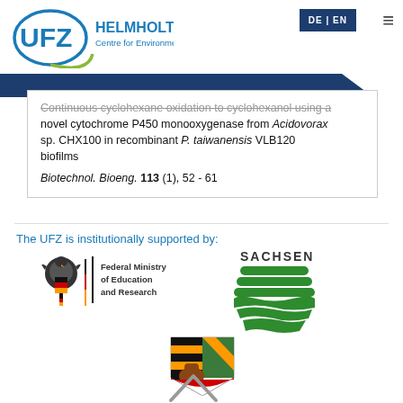[Figure (logo): UFZ Helmholtz Centre for Environmental Research logo with circular arc and text]
DE | EN
cyclohexane oxidation to cyclohexanol using a novel cytochrome P450 monooxygenase from Acidovorax sp. CHX100 in recombinant P. taiwanensis VLB120 biofilms
Biotechnol. Bioeng. 113 (1), 52 - 61
The UFZ is institutionally supported by:
[Figure (logo): Federal Ministry of Education and Research (BMBF) logo with eagle emblem and German flag colors]
[Figure (logo): Sachsen (Saxony) state logo with green wave/stripe emblem]
[Figure (logo): Saxony-Anhalt coat of arms with diagonal stripes and bear]
[Figure (illustration): Scroll up / back to top chevron arrow icon]